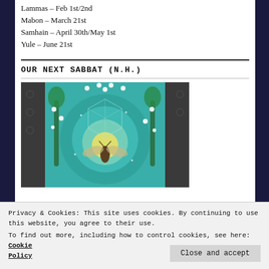Lammas – Feb 1st/2nd
Mabon – March 21st
Samhain – April 30th/May 1st
Yule – June 21st
OUR NEXT SABBAT (N.H.)
[Figure (illustration): Fantasy illustration showing a moth or bee centered in a glowing teal and yellow geometric mandala-like circle, surrounded by stylized trees with white flowers on a dark patterned background.]
Privacy & Cookies: This site uses cookies. By continuing to use this website, you agree to their use.
To find out more, including how to control cookies, see here: Cookie Policy